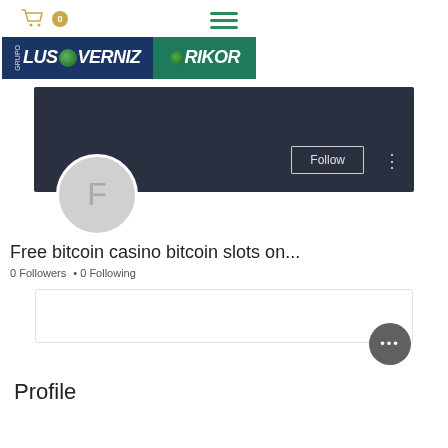[Figure (screenshot): Shopping cart icon with badge showing 0]
[Figure (infographic): Hamburger menu icon with three green horizontal lines]
[Figure (logo): Lusoverniz and Rikor combined brand logo banner]
[Figure (screenshot): User profile banner with dark background, Follow button, and avatar circle with letter F]
Free bitcoin casino bitcoin slots on...
0 Followers • 0 Following
[Figure (screenshot): Empty content box with floating action button showing three dots]
Profile